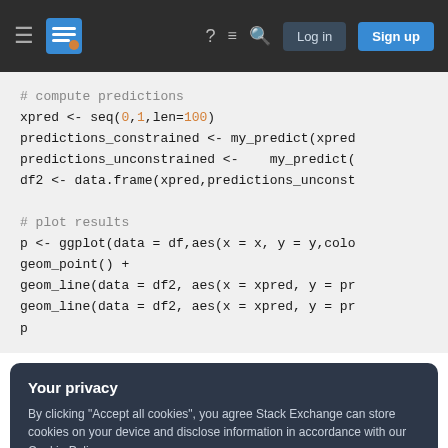Stack Exchange navigation bar with hamburger menu, logo, help, chat, search, login and sign up buttons
# compute predictions
xpred <- seq(0,1,len=100)
predictions_constrained <- my_predict(xpred
predictions_unconstrained <-    my_predict(
df2 <- data.frame(xpred,predictions_unconst

# plot results
p <- ggplot(data = df,aes(x = x, y = y,colo
geom_point() +
geom_line(data = df2, aes(x = xpred, y = pr
geom_line(data = df2, aes(x = xpred, y = pr
p
Your privacy
By clicking "Accept all cookies", you agree Stack Exchange can store cookies on your device and disclose information in accordance with our Cookie Policy.
Accept all cookies  Customize settings